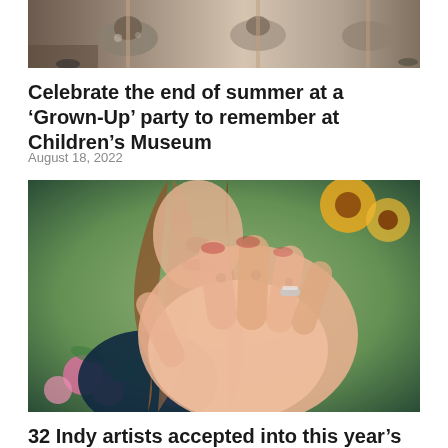[Figure (photo): Photo of carousel horses at a children's museum, showing painted horse figures on a merry-go-round]
Celebrate the end of summer at a ‘Grown-Up’ party to remember at Children’s Museum
August 18, 2022
[Figure (photo): Painting of a woman with long hair holding her hand up toward the viewer, surrounded by colorful flowers including peonies and sunflowers, warm pink and orange tones]
32 Indy artists accepted into this year’s Hoosier